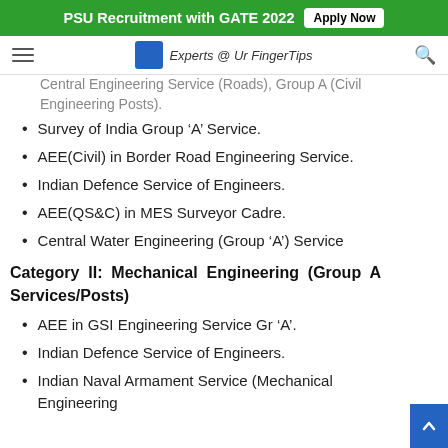PSU Recruitment with GATE 2022  Apply Now
Experts @ Ur FingerTips
Central Engineering Service (Roads), Group A (Civil Engineering Posts).
Survey of India Group ‘A’ Service.
AEE(Civil) in Border Road Engineering Service.
Indian Defence Service of Engineers.
AEE(QS&C) in MES Surveyor Cadre.
Central Water Engineering (Group ‘A’) Service
Category II: Mechanical Engineering (Group A Services/Posts)
AEE in GSI Engineering Service Gr ‘A’.
Indian Defence Service of Engineers.
Indian Naval Armament Service (Mechanical Engineering